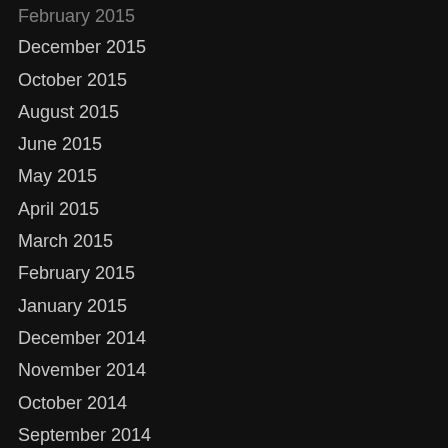February 2015 (clipped/partial at top)
December 2015
October 2015
August 2015
June 2015
May 2015
April 2015
March 2015
February 2015
January 2015
December 2014
November 2014
October 2014
September 2014
July 2014
April 2014